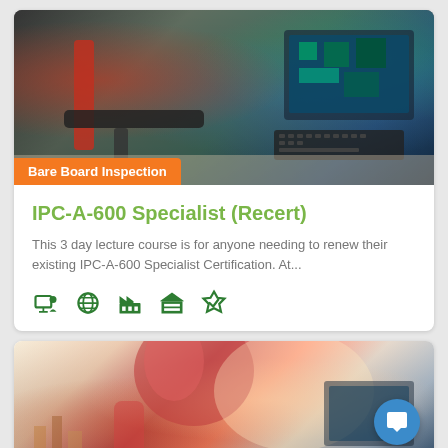[Figure (photo): Laboratory inspection equipment with microscope arm, computer monitor showing circuit board design, and keyboard on a workbench]
Bare Board Inspection
IPC-A-600 Specialist (Recert)
This 3 day lecture course is for anyone needing to renew their existing IPC-A-600 Specialist Certification. At...
[Figure (illustration): Five green icons: person at computer screen, globe/world, factory/industry building, warehouse/garage building, checkmark badge]
[Figure (photo): Partial view of robotic arm equipment in a red-toned industrial/lab setting with computer monitor in background]